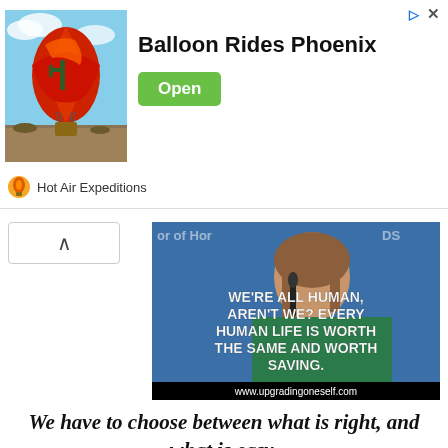[Figure (infographic): Advertisement banner for Balloon Rides Phoenix by Hot Air Expeditions. Shows a red hot air balloon in desert landscape on left, bold text 'Balloon Rides Phoenix' in center, green 'Open' button on right, and Hot Air Expeditions logo/brand at bottom.]
[Figure (photo): Photo of a woman speaking at a podium/microphone with blue background and text overlay: 'WE'RE ALL HUMAN, AREN'T WE? EVERY HUMAN LIFE IS WORTH THE SAME AND WORTH SAVING.' with www.upgradingoneself.com at the bottom.]
We have to choose between what is right, and what is easy.
[Figure (photo): Portrait photo of a woman with reddish-brown hair, partially visible, in front of a background with text including 'WAY'.]